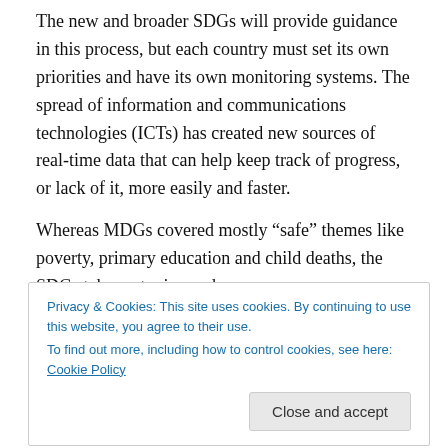The new and broader SDGs will provide guidance in this process, but each country must set its own priorities and have its own monitoring systems. The spread of information and communications technologies (ICTs) has created new sources of real-time data that can help keep track of progress, or lack of it, more easily and faster.
Whereas MDGs covered mostly “safe” themes like poverty, primary education and child deaths, the SDGs take on topics such as governance, institutions, human rights, inequality, ageing and peace. This reflects how
Privacy & Cookies: This site uses cookies. By continuing to use this website, you agree to their use.
To find out more, including how to control cookies, see here: Cookie Policy
Close and accept
but advocacy groups and activists have also been